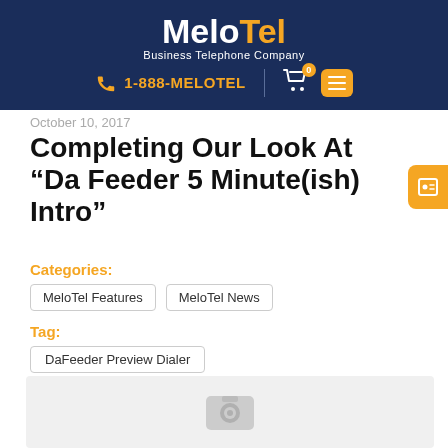[Figure (logo): MeloTel Business Telephone Company logo with navigation bar showing 1-888-MELOTEL phone number, cart icon, and menu button on dark navy background]
October 10, 2017
Completing Our Look At “Da Feeder 5 Minute(ish) Intro”
Categories:
MeloTel Features
MeloTel News
Tag:
DaFeeder Preview Dialer
[Figure (photo): Gray placeholder image with camera icon]